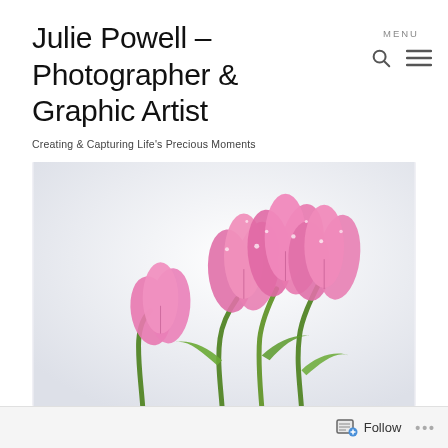Julie Powell – Photographer & Graphic Artist
Creating & Capturing Life's Precious Moments
[Figure (photo): Pink tulips with water droplets on white/light background, photographed by Julie Powell]
Follow ···